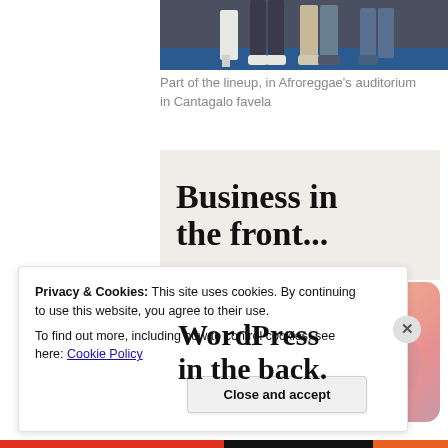[Figure (photo): Partial view of people's legs and feet standing on a blue floor in an auditorium]
Part of the lineup, in Afroreggae's auditorium in Cantagalo favela
[Figure (illustration): Banner with text 'Business in the front...' on a light beige/cream background]
[Figure (illustration): WordPress promotional banner with colorful gradient background (peach/salmon/mauve) and text 'WordPress in the back.']
Privacy & Cookies: This site uses cookies. By continuing to use this website, you agree to their use.
To find out more, including how to control cookies, see here: Cookie Policy